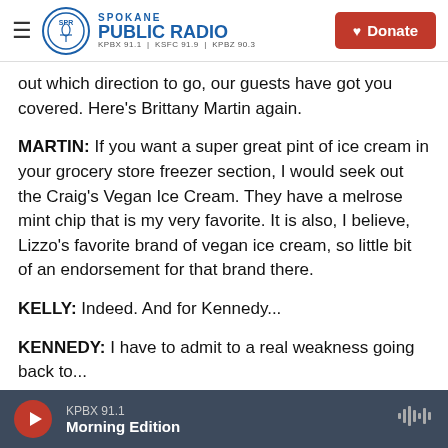Spokane Public Radio — KPBX 91.1 | KSFC 91.9 | KPBZ 90.3 | Donate
out which direction to go, our guests have got you covered. Here's Brittany Martin again.
MARTIN: If you want a super great pint of ice cream in your grocery store freezer section, I would seek out the Craig's Vegan Ice Cream. They have a melrose mint chip that is my very favorite. It is also, I believe, Lizzo's favorite brand of vegan ice cream, so little bit of an endorsement for that brand there.
KELLY: Indeed. And for Kennedy...
KENNEDY: I have to admit to a real weakness going back to...
KPBX 91.1 — Morning Edition